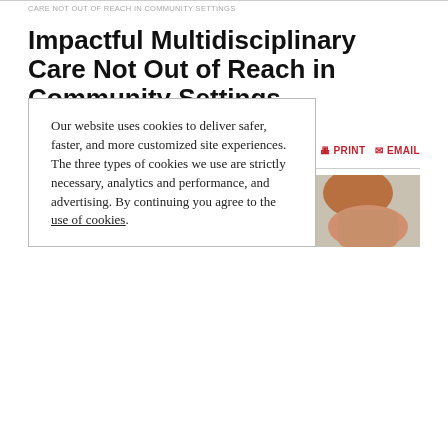CARE NOT OUT OF REACH IN COMMUNITY SETTINGS
Impactful Multidisciplinary Care Not Out of Reach in Community Settings
By: Leah Lawrence
on: January 04, 2021  in: EVOLVING STANDARDS OF CARE
[Figure (photo): Two people in conversation, one with dark hair and one with reddish/blonde hair, partially visible from behind]
Our website uses cookies to deliver safer, faster, and more customized site experiences. The three types of cookies we use are strictly necessary, analytics and performance, and advertising. By continuing you agree to the use of cookies.